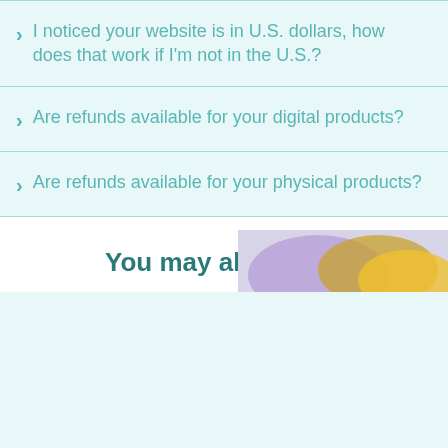I noticed your website is in U.S. dollars, how does that work if I'm not in the U.S.?
Are refunds available for your digital products?
Are refunds available for your physical products?
You may also like...
[Figure (photo): Partial image visible at bottom right corner, showing colorful abstract shapes in purple and gold tones]